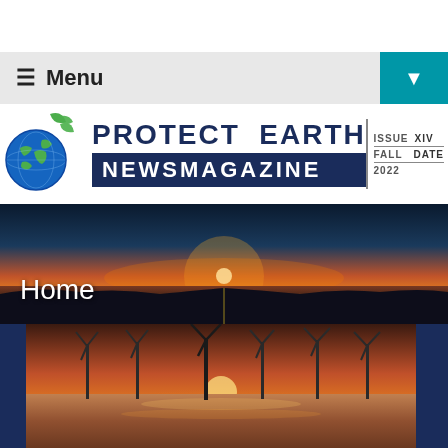Menu
[Figure (logo): Protect Earth Newsmagazine logo with globe and green leaf icon. Issue XIV, Fall 2022.]
[Figure (photo): Sunset over ocean/rocky coastline panoramic banner with text 'Home']
[Figure (photo): Offshore wind turbines at sunset over ocean water]